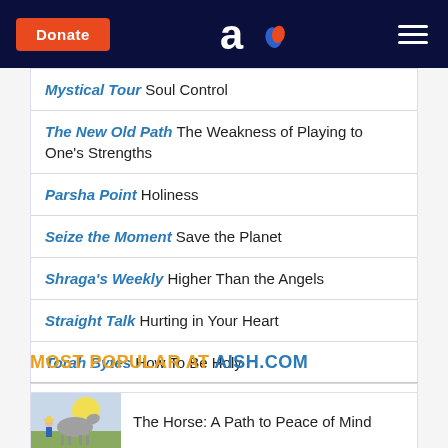Donate | Aish.com logo | Menu
Mystical Tour Soul Control
The New Old Path The Weakness of Playing to One's Strengths
Parsha Point Holiness
Seize the Moment Save the Planet
Shraga's Weekly Higher Than the Angels
Straight Talk Hurting in Your Heart
Torah Bytes How To Be Holy
Torah for Your Table The Path to Holiness
MOST POPULAR AT AISH.COM
[Figure (illustration): Illustration of a horse and small figure with yellow sun background]
The Horse: A Path to Peace of Mind